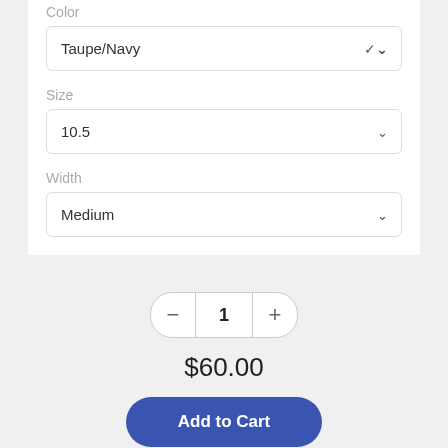Color
Taupe/Navy
Size
10.5
Width
Medium
1
$60.00
Add to Cart